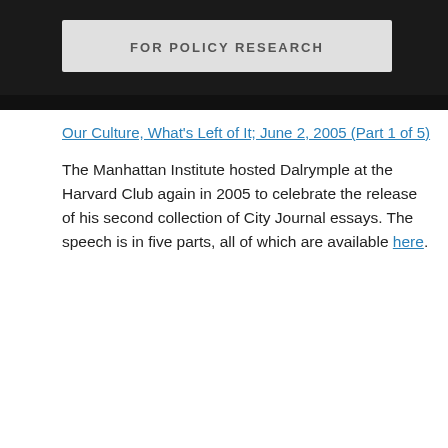[Figure (screenshot): Top portion of a video thumbnail showing dark background with partially visible text 'FOR POLICY RESEARCH' in white letters on a gray bar]
Our Culture, What's Left of It; June 2, 2005 (Part 1 of 5)
The Manhattan Institute hosted Dalrymple at the Harvard Club again in 2005 to celebrate the release of his second collection of City Journal essays. The speech is in five parts, all of which are available here.
[Figure (screenshot): YouTube video thumbnail showing Theodore Dalrymple - Romanci... with a circular avatar of a speaker, three-dot menu icon, and '5/3' counter in bottom right corner, brown/dark wood paneling background]